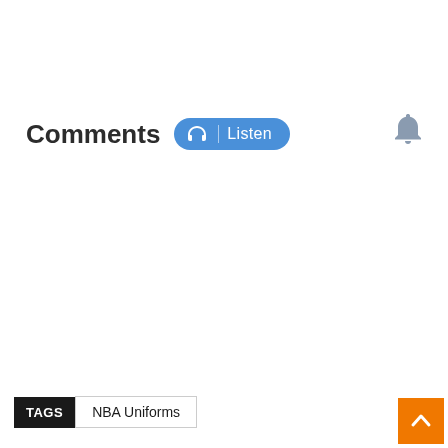Comments
[Figure (other): Listen audio button with headphones icon and Listen text on blue pill-shaped button]
[Figure (other): Bell notification icon (grey)]
TAGS  NBA Uniforms
[Figure (other): Orange scroll-to-top button with upward chevron arrow]